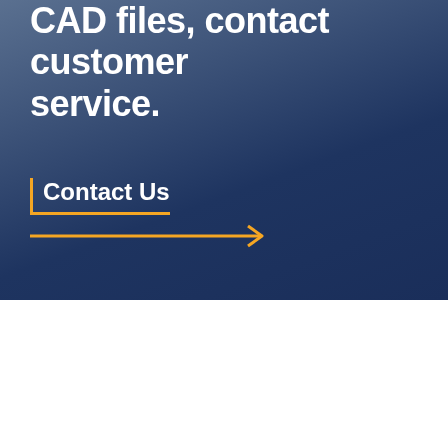CAD files, contact customer service.
Contact Us →
Oberon Insights